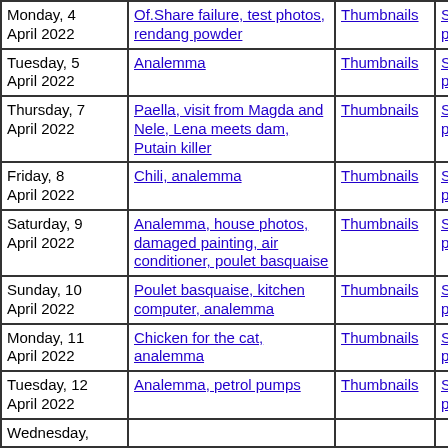| Date | Title | Thumbnails | Small photos | dia |
| --- | --- | --- | --- | --- |
| Monday, 4 April 2022 | Of.Share failure, test photos, rendang powder | Thumbnails | Small photos | dia |
| Tuesday, 5 April 2022 | Analemma | Thumbnails | Small photos | dia |
| Thursday, 7 April 2022 | Paella, visit from Magda and Nele, Lena meets dam, Putain killer | Thumbnails | Small photos | dia |
| Friday, 8 April 2022 | Chili, analemma | Thumbnails | Small photos | dia |
| Saturday, 9 April 2022 | Analemma, house photos, damaged painting, air conditioner, poulet basquaise | Thumbnails | Small photos | dia |
| Sunday, 10 April 2022 | Poulet basquaise, kitchen computer, analemma | Thumbnails | Small photos | dia |
| Monday, 11 April 2022 | Chicken for the cat, analemma | Thumbnails | Small photos | dia |
| Tuesday, 12 April 2022 | Analemma, petrol pumps | Thumbnails | Small photos | dia |
| Wednesday, |  |  |  |  |